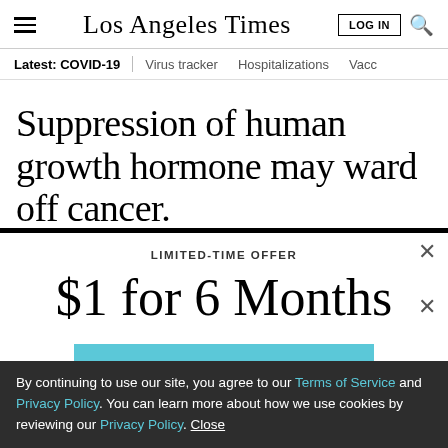Los Angeles Times — LOG IN
Latest: COVID-19 | Virus tracker | Hospitalizations | Vacc
Suppression of human growth hormone may ward off cancer.
LIMITED-TIME OFFER
$1 for 6 Months
SUBSCRIBE NOW
By continuing to use our site, you agree to our Terms of Service and Privacy Policy. You can learn more about how we use cookies by reviewing our Privacy Policy. Close